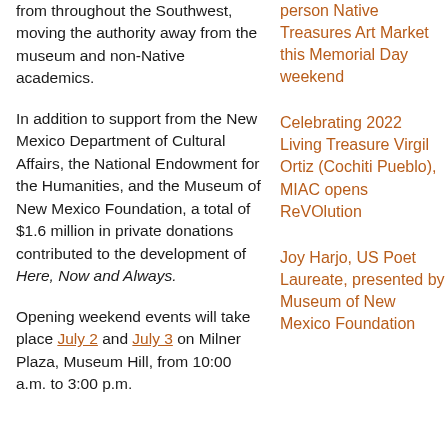from throughout the Southwest, moving the authority away from the museum and non-Native academics.
In addition to support from the New Mexico Department of Cultural Affairs, the National Endowment for the Humanities, and the Museum of New Mexico Foundation, a total of $1.6 million in private donations contributed to the development of Here, Now and Always.
Opening weekend events will take place July 2 and July 3 on Milner Plaza, Museum Hill, from 10:00 a.m. to 3:00 p.m.
person Native Treasures Art Market this Memorial Day weekend
Celebrating 2022 Living Treasure Virgil Ortiz (Cochiti Pueblo), MIAC opens ReVOlution
Joy Harjo, US Poet Laureate, presented by Museum of New Mexico Foundation